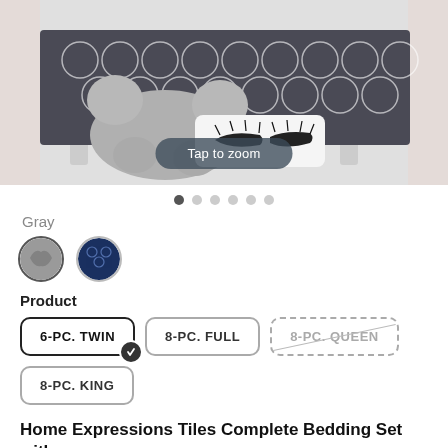[Figure (photo): Bedding set product photo showing dark gray geometric patterned comforter, fluffy gray bear-shaped pillow, and white pillow with eyelash design. A 'Tap to zoom' overlay is shown at the bottom of the image.]
Gray
[Figure (other): Two circular color swatches: first is a gray fabric swatch (selected, with border), second is a dark navy blue geometric pattern swatch.]
Product
6-PC. TWIN (selected), 8-PC. FULL, 8-PC. QUEEN (unavailable/out of stock), 8-PC. KING
Home Expressions Tiles Complete Bedding Set with